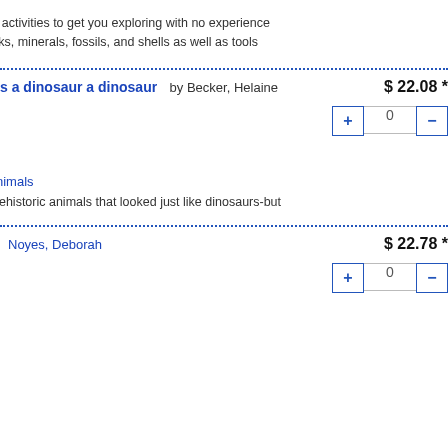s activities to get you exploring with no experience
cks, minerals, fossils, and shells as well as tools
s a dinosaur a dinosaur  by Becker, Helaine  $ 22.08 *
nimals
hehistoric animals that looked just like dinosaurs-but
Noyes, Deborah  $ 22.78 *